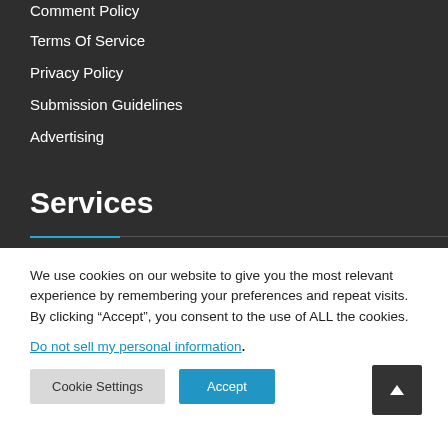Comment Policy
Terms Of Service
Privacy Policy
Submission Guidelines
Advertising
Services
We use cookies on our website to give you the most relevant experience by remembering your preferences and repeat visits. By clicking “Accept”, you consent to the use of ALL the cookies.
Do not sell my personal information.
Cookie Settings  Accept